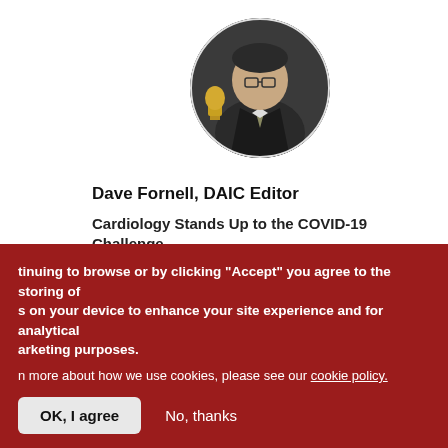[Figure (photo): Circular profile photo of Dave Fornell, a man wearing glasses and a suit, holding an award trophy]
Dave Fornell, DAIC Editor
Cardiology Stands Up to the COVID-19 Challenge
See All Blogs
[Figure (logo): DAIC logo in red italic text]
[Figure (photo): Dark thumbnail image of a medical/cardiology device or scan]
tinuing to browse or by clicking “Accept” you agree to the storing of s on your device to enhance your site experience and for analytical arketing purposes.
n more about how we use cookies, please see our cookie policy.
OK, I agree
No, thanks